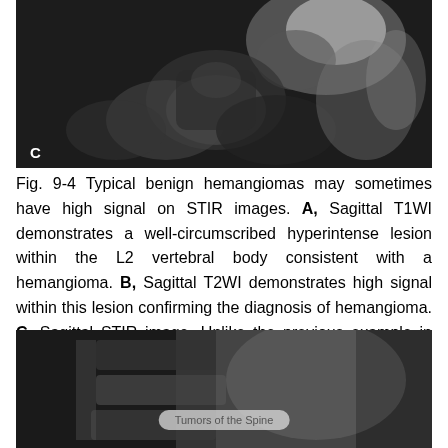[Figure (photo): MRI scan image labeled C, showing sagittal STIR image of spine with L2 vertebral hemangioma with high signal, black and white MRI]
Fig. 9-4 Typical benign hemangiomas may sometimes have high signal on STIR images. A, Sagittal T1WI demonstrates a well-circumscribed hyperintense lesion within the L2 vertebral body consistent with a hemangioma. B, Sagittal T2WI demonstrates high signal within this lesion confirming the diagnosis of hemangioma. C, Sagittal STIR image. Unlike the previous example in Figure 9-3, high signal is seen within the L2 hemangioma on STIR. This does not change the diagnosis of hemangioma.
[Figure (photo): MRI scan image of spine, partially visible, with overlay text label 'Tumors of the Spine']